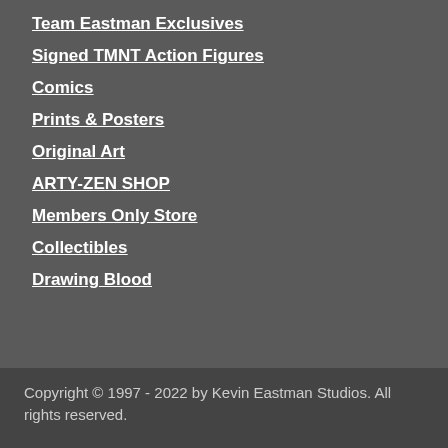Team Eastman Exclusives
Signed TMNT Action Figures
Comics
Prints & Posters
Original Art
ARTY-ZEN SHOP
Members Only Store
Collectibles
Drawing Blood
Copyright © 1997 - 2022 by Kevin Eastman Studios. All rights reserved.